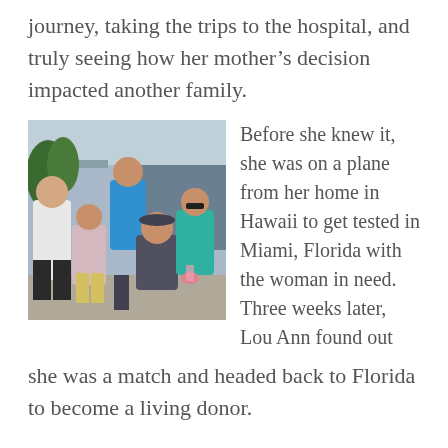journey, taking the trips to the hospital, and truly seeing how her mother's decision impacted another family.
[Figure (photo): Group photo of five people seated and standing outdoors, possibly at a restaurant or patio area with tropical foliage in background.]
Before she knew it, she was on a plane from her home in Hawaii to get tested in Miami, Florida with the woman in need. Three weeks later, Lou Ann found out she was a match and headed back to Florida to become a living donor.
Bravely, Lou Ann underwent surgery with her newly